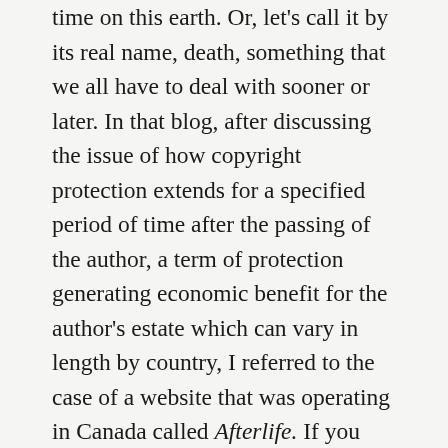time on this earth. Or, let's call it by its real name, death, something that we all have to deal with sooner or later. In that blog, after discussing the issue of how copyright protection extends for a specified period of time after the passing of the author, a term of protection generating economic benefit for the author's estate which can vary in length by country, I referred to the case of a website that was operating in Canada called Afterlife. If you can believe it, the operators of this site were running a business based on the unauthorized postings of obituaries that they harvested from newspapers and the websites of funeral homes. The business model consisted of selling virtual candles and other forms of remembrance for the departed, all without any authorization